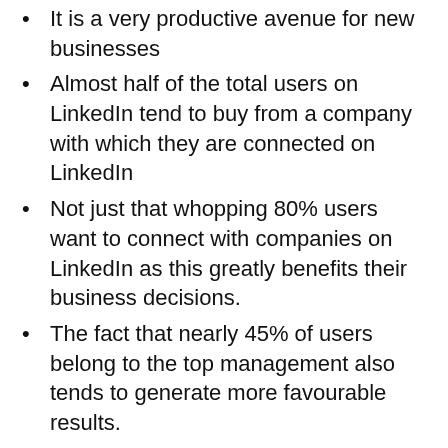It is a very productive avenue for new businesses
Almost half of the total users on LinkedIn tend to buy from a company with which they are connected on LinkedIn
Not just that whopping 80% users want to connect with companies on LinkedIn as this greatly benefits their business decisions.
The fact that nearly 45% of users belong to the top management also tends to generate more favourable results.
The fact that LinkedIn does not have a hide post feature ensures that the number of posts are seen more often, almost 20% views a month